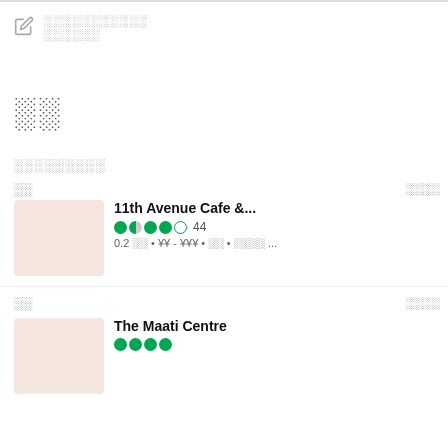░░░░░░░░░░░ ░░░░░░
░░
░░░░░░░░░
░░
░░░░
11th Avenue Cafe &...
●●●●○ 44
0.2 ░░ • ¥¥ - ¥¥¥ • ░░ • ░░░░ ...
JB's
●●●●◐
0.6 ░░ • ¥¥ ...
░░
░░░░
The Maati Centre
Jor Pukhu...